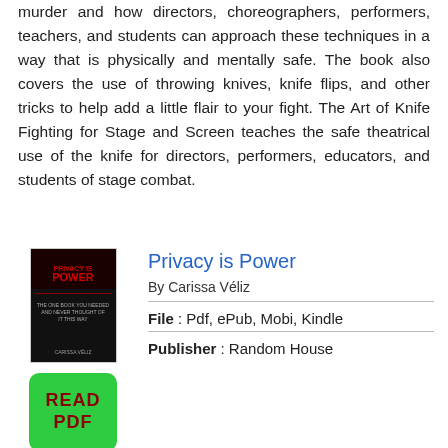murder and how directors, choreographers, performers, teachers, and students can approach these techniques in a way that is physically and mentally safe. The book also covers the use of throwing knives, knife flips, and other tricks to help add a little flair to your fight. The Art of Knife Fighting for Stage and Screen teaches the safe theatrical use of the knife for directors, performers, educators, and students of stage combat.
Privacy is Power
By Carissa Véliz
[Figure (photo): Book cover of 'Privacy is Power' — dark red and black cover with bold red title text]
[Figure (other): Green button with text 'READ PDF']
File : Pdf, ePub, Mobi, Kindle
Publisher : Random House